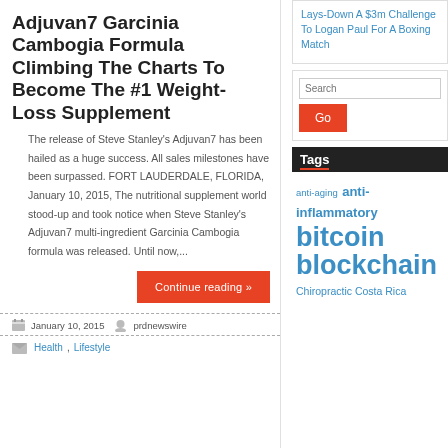Adjuvan7 Garcinia Cambogia Formula Climbing The Charts To Become The #1 Weight-Loss Supplement
The release of Steve Stanley's Adjuvan7 has been hailed as a huge success. All sales milestones have been surpassed. FORT LAUDERDALE, FLORIDA, January 10, 2015, The nutritional supplement world stood-up and took notice when Steve Stanley's Adjuvan7 multi-ingredient Garcinia Cambogia formula was released. Until now,...
Continue reading »
January 10, 2015  prdnewswire
Health, Lifestyle
Lays-Down A $3m Challenge To Logan Paul For A Boxing Match
Search
Go
Tags
anti-aging anti-inflammatory bitcoin blockchain Chiropractic Costa Rica